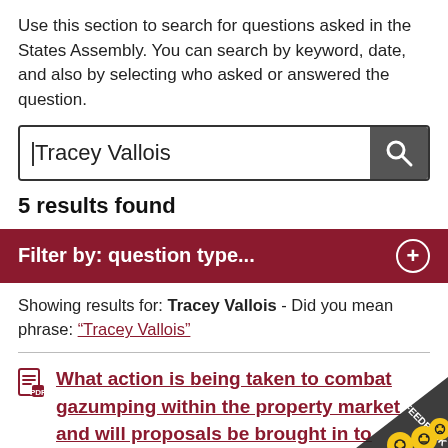Use this section to search for questions asked in the States Assembly. You can search by keyword, date, and also by selecting who asked or answered the question.
Tracey Vallois [search input]
5 results found
Filter by: question type...
Showing results for: Tracey Vallois - Did you mean phrase: "Tracey Vallois"
What action is being taken to combat gazumping within the property market and will proposals be brought in to regulate estate agents against this
Question type: